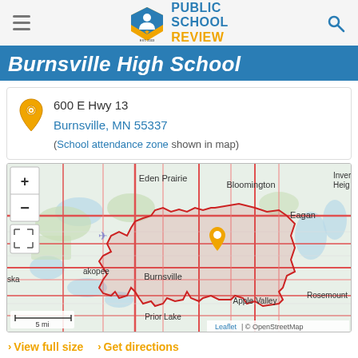Public School Review EST. 2003
Burnsville High School
600 E Hwy 13
Burnsville, MN 55337
(School attendance zone shown in map)
[Figure (map): Interactive street map showing the school attendance zone for Burnsville High School, with a red boundary polygon around the Burnsville, MN area. Surrounding cities labeled include Eden Prairie, Bloomington, Eagan, Inver Grove Heights, Rosemount, Apple Valley, Prior Lake, Shakopee. Scale bar shows 5 mi. Orange map pin marker at school location. Leaflet | © OpenStreetMap attribution.]
View full size   Get directions